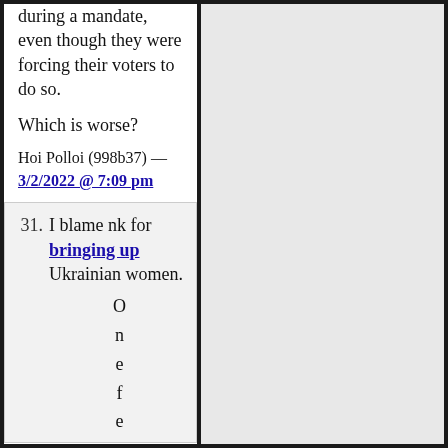during a mandate, even though they were forcing their voters to do so.
Which is worse?
Hoi Polloi (998b37) — 3/2/2022 @ 7:09 pm
31. I blame nk for bringing up Ukrainian women. One fe
O n e f e